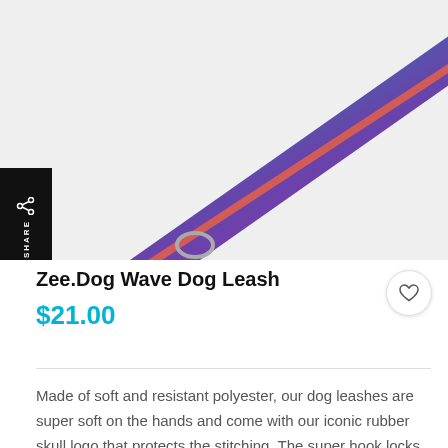[Figure (photo): Product photo of a Zee.Dog Wave Dog Leash showing a gradient teal-to-purple leash with orange lining and stitched handle, photographed against a light gray background.]
Zee.Dog Wave Dog Leash
$21.00
Made of soft and resistant polyester, our dog leashes are super soft on the hands and come with our iconic rubber skull logo that protects the stitching. The super hook locks for an effortless and safe walking experience. Sizing Chart Extra Small Small length 100 Width 1 cm length 100 Width